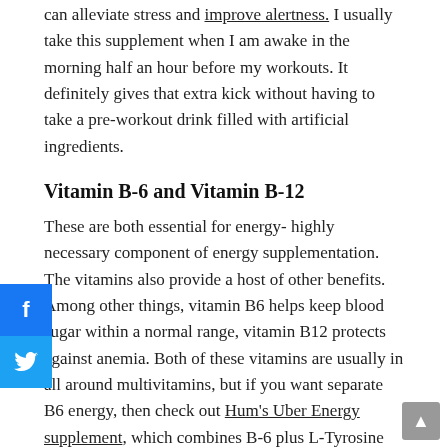can alleviate stress and improve alertness. I usually take this supplement when I am awake in the morning half an hour before my workouts. It definitely gives that extra kick without having to take a pre-workout drink filled with artificial ingredients.
Vitamin B-6 and Vitamin B-12
These are both essential for energy- highly necessary component of energy supplementation. The vitamins also provide a host of other benefits. Among other things, vitamin B6 helps keep blood sugar within a normal range, vitamin B12 protects against anemia. Both of these vitamins are usually in all around multivitamins, but if you want separate B6 energy, then check out Hum's Uber Energy supplement, which combines B-6 plus L-Tyrosine
t Drive and Fertility